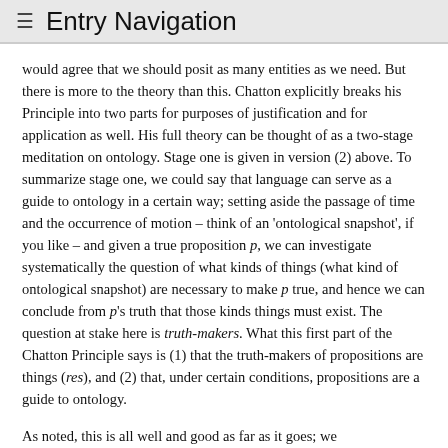≡  Entry Navigation
would agree that we should posit as many entities as we need. But there is more to the theory than this. Chatton explicitly breaks his Principle into two parts for purposes of justification and for application as well. His full theory can be thought of as a two-stage meditation on ontology. Stage one is given in version (2) above. To summarize stage one, we could say that language can serve as a guide to ontology in a certain way; setting aside the passage of time and the occurrence of motion – think of an 'ontological snapshot', if you like – and given a true proposition p, we can investigate systematically the question of what kinds of things (what kind of ontological snapshot) are necessary to make p true, and hence we can conclude from p's truth that those kinds things must exist. The question at stake here is truth-makers. What this first part of the Chatton Principle says is (1) that the truth-makers of propositions are things (res), and (2) that, under certain conditions, propositions are a guide to ontology.
As noted, this is all well and good as far as it goes; we